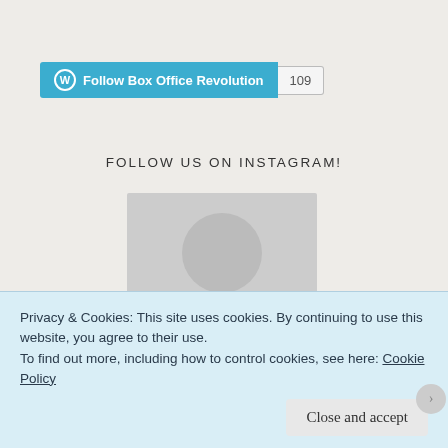[Figure (other): WordPress Follow Box Office Revolution button with count 109]
FOLLOW US ON INSTAGRAM!
[Figure (photo): Instagram image placeholder (gray)]
Come and See our Box Office Revolution YouTube Channel where we breakdown the biblical timelines of the fresh new bible series The Chosen. Click on the picture below to view our latest video
Privacy & Cookies: This site uses cookies. By continuing to use this website, you agree to their use.
To find out more, including how to control cookies, see here: Cookie Policy
Close and accept